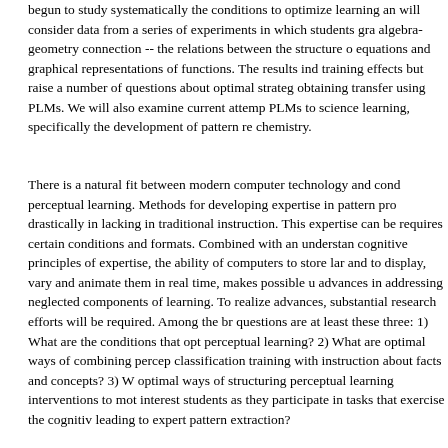begun to study systematically the conditions to optimize learning an will consider data from a series of experiments in which students gra algebra-geometry connection -- the relations between the structure o equations and graphical representations of functions. The results ind training effects but raise a number of questions about optimal strateg obtaining transfer using PLMs. We will also examine current attemp PLMs to science learning, specifically the development of pattern re chemistry.
There is a natural fit between modern computer technology and cond perceptual learning. Methods for developing expertise in pattern pro drastically in lacking in traditional instruction. This expertise can be requires certain conditions and formats. Combined with an understan cognitive principles of expertise, the ability of computers to store lar and to display, vary and animate them in real time, makes possible u advances in addressing neglected components of learning. To realize advances, substantial research efforts will be required. Among the br questions are at least these three: 1) What are the conditions that opt perceptual learning? 2) What are optimal ways of combining percep classification training with instruction about facts and concepts? 3) W optimal ways of structuring perceptual learning interventions to mot interest students as they participate in tasks that exercise the cognitiv leading to expert pattern extraction?